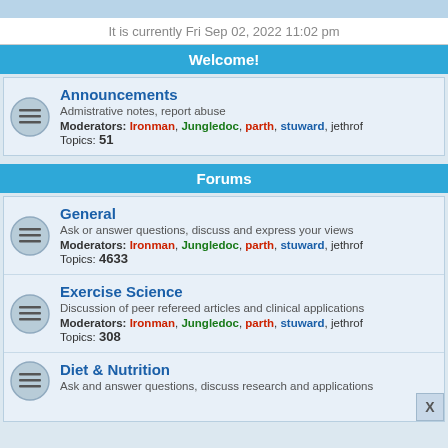It is currently Fri Sep 02, 2022 11:02 pm
Welcome!
Announcements
Admistrative notes, report abuse
Moderators: Ironman, Jungledoc, parth, stuward, jethrof
Topics: 51
Forums
General
Ask or answer questions, discuss and express your views
Moderators: Ironman, Jungledoc, parth, stuward, jethrof
Topics: 4633
Exercise Science
Discussion of peer refereed articles and clinical applications
Moderators: Ironman, Jungledoc, parth, stuward, jethrof
Topics: 308
Diet & Nutrition
Ask and answer questions, discuss research and applications